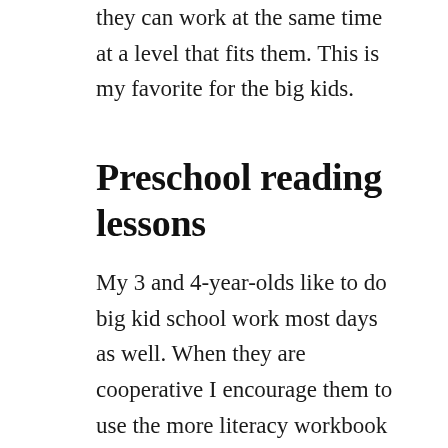they can work at the same time at a level that fits them. This is my favorite for the big kids.
Preschool reading lessons
My 3 and 4-year-olds like to do big kid school work most days as well. When they are cooperative I encourage them to use the more literacy workbook from Mother